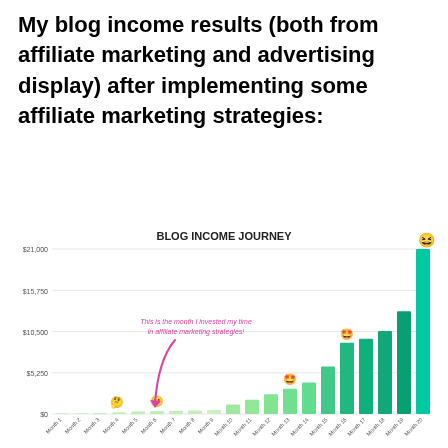My blog income results (both from affiliate marketing and advertising display) after implementing some affiliate marketing strategies:
[Figure (bar-chart): BLOG INCOME JOURNEY]